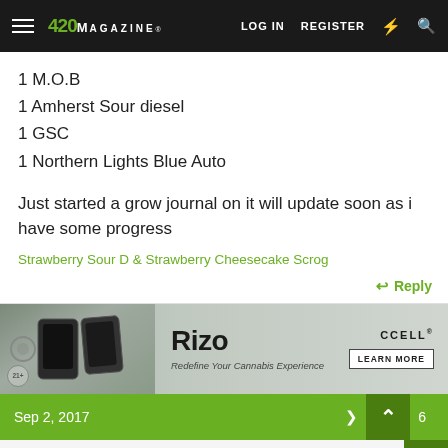420 MAGAZINE — LOG IN   REGISTER
1 M.O.B
1 Amherst Sour diesel
1 GSC
1 Northern Lights Blue Auto
Just started a grow journal on it will update soon as i have some progress
Strawberry Sour D & Strawberry Cheesecake Scrog
↩ Reply
[Figure (photo): CCELL Rizo advertisement banner with vape devices on gray background. Text: Rizo, Redefine Your Cannabis Experience, LEARN MORE, CCELL. Age gate badge 21+.]
Sep 2, 2017   6
Van Stank — Plant of the Year: 2018, 2019, 2020 - Member of the Mon...